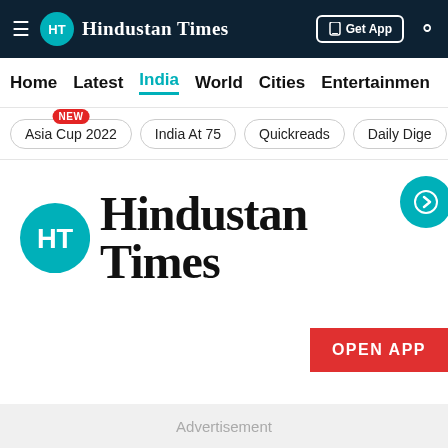[Figure (screenshot): Hindustan Times website header navigation bar with dark navy background showing HT logo, brand name, Get App button and search icon]
Home  Latest  India  World  Cities  Entertainment
Asia Cup 2022 [NEW]
India At 75
Quickreads
Daily Dige
[Figure (logo): Hindustan Times large logo with teal HT circle emblem and gothic blackletter Hindustan Times text, with OPEN APP red button]
Advertisement